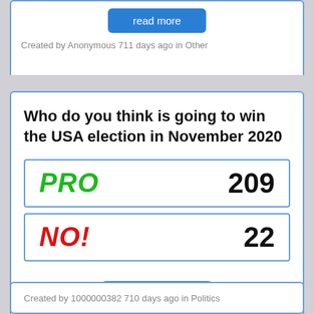[Figure (screenshot): Top card partial view showing a 'read more' blue button at the top]
Created by Anonymous 711 days ago in Other
Who do you think is going to win the USA election in November 2020
| Option | Count |
| --- | --- |
| PRO | 209 |
| NO! | 22 |
read more
Created by 1000000382 710 days ago in Politics